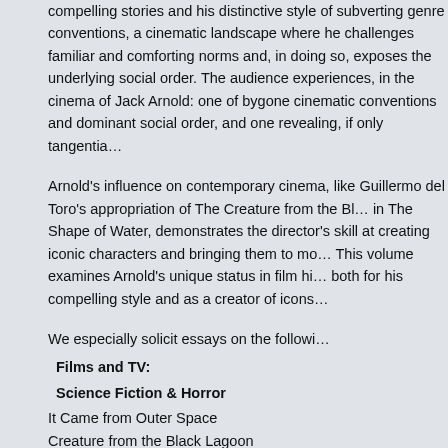compelling stories and his distinctive style of subverting genre conventions, a cinematic landscape where he challenges familiar and comforting norms and, in doing so, exposes the underlying social order. The audience experiences, in the cinema of Jack Arnold: one of bygone cinematic conventions and dominant social order, and one revealing, if only tangentially,
Arnold's influence on contemporary cinema, like Guillermo del Toro's appropriation of The Creature from the Black Lagoon in The Shape of Water, demonstrates the director's skill at creating iconic characters and bringing them to modern life. This volume examines Arnold's unique status in film history, both for his compelling style and as a creator of icons.
We especially solicit essays on the following:
Films and TV:
Science Fiction & Horror
It Came from Outer Space
Creature from the Black Lagoon
Revenge of the Creature
Tarantula
The Incredible Shrinking Man
Monster on Campus